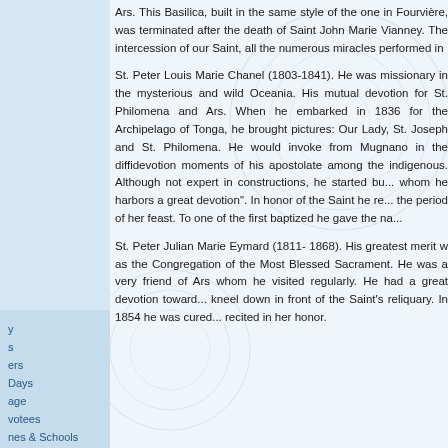Ars. This Basilica, built in the same style of the one in Fourvière, was terminated after the death of Saint John Marie Vianney. The intercession of our Saint, all the numerous miracles performed in
St. Peter Louis Marie Chanel (1803-1841). He was missionary in the mysterious and wild Oceania. His mutual devotion for St. Philomena and Ars. When he embarked in 1836 for the Archipelago of Tonga, he brought pictures: Our Lady, St. Joseph and St. Philomena. He would invoke from Mugnano in the diffidevotion moments of his apostolate among the indigenous. Although not expert in constructions, he started bu... whom he harbors a great devotion". In honor of the Saint he re... the period of her feast. To one of the first baptized he gave the na...
St. Peter Julian Marie Eymard (1811- 1868). His greatest merit was the Congregation of the Most Blessed Sacrament. He was a very friend of Ars whom he visited regularly. He had a great devotion toward... kneel down in front of the Saint's reliquary. In 1854 he was cured... recited in her honor.
y
s
ers
Days
age
votees
nes & Schools